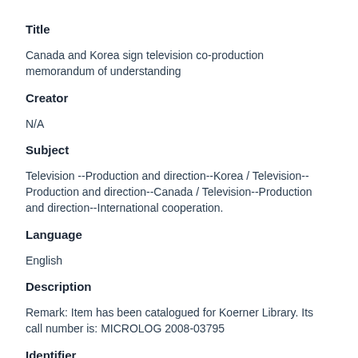Title
Canada and Korea sign television co-production memorandum of understanding
Creator
N/A
Subject
Television --Production and direction--Korea / Television--Production and direction--Canada / Television--Production and direction--International cooperation.
Language
English
Description
Remark: Item has been catalogued for Koerner Library. Its call number is: MICROLOG 2008-03795
Identifier
eal3:2856, KCHA-UBC-TH-0017